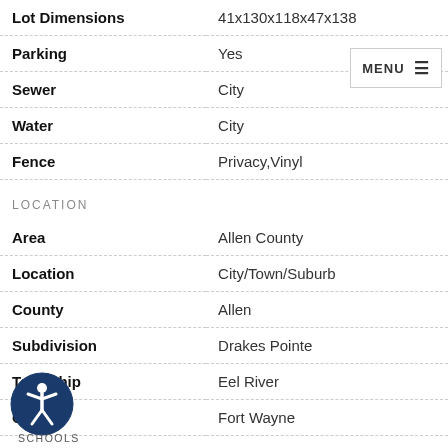| Property | Value |
| --- | --- |
| Lot Dimensions | 41x130x118x47x138 |
| Parking | Yes |
| Sewer | City |
| Water | City |
| Fence | Privacy,Vinyl |
LOCATION
| Property | Value |
| --- | --- |
| Area | Allen County |
| Location | City/Town/Suburb |
| County | Allen |
| Subdivision | Drakes Pointe |
| Township | Eel River |
| City | Fort Wayne |
| State | IN |
| Zip | 46818 |
[Figure (illustration): Accessibility icon: blue circle with white figure of person with arms out]
SCHOOLS